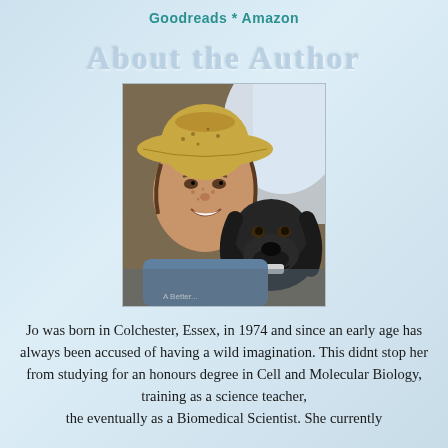Goodreads * Amazon
About the Author
[Figure (photo): Author selfie photo with a person wearing a straw hat and a black dog (Labrador) pressed cheek-to-cheek, taken outdoors in bright light]
Jo was born in Colchester, Essex, in 1974 and since an early age has always been accused of having a wild imagination. This didnt stop her from studying for an honours degree in Cell and Molecular Biology, training as a science teacher, then eventually as a Biomedical Scientist. She currently...